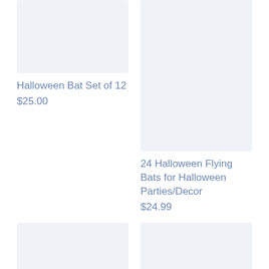[Figure (photo): Product image placeholder for Halloween Bat Set of 12, light blue-gray background]
Halloween Bat Set of 12
$25.00
[Figure (photo): Product image placeholder for 24 Halloween Flying Bats, light blue-gray background]
24 Halloween Flying Bats for Halloween Parties/Decor
$24.99
[Figure (photo): Product image placeholder bottom-left, light blue-gray background]
[Figure (photo): Product image placeholder bottom-right, light blue-gray background]